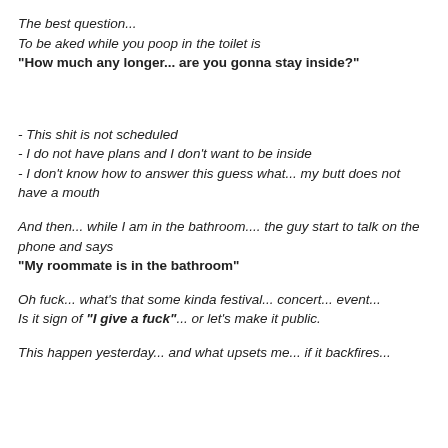The best question...
To be aked while you poop in the toilet is
"How much any longer... are you gonna stay inside?"
- This shit is not scheduled
- I do not have plans and I don't want to be inside
- I don't know how to answer this guess what... my butt does not have a mouth
And then... while I am in the bathroom.... the guy start to talk on the phone and says
"My roommate is in the bathroom"
Oh fuck... what's that some kinda festival... concert... event...
Is it sign of "I give a fuck"... or let's make it public.
This happen yesterday... and what upsets me... if it backfires...